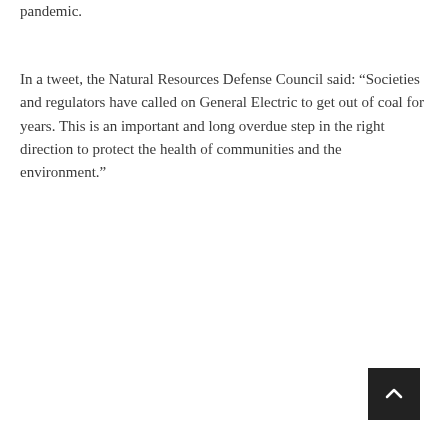pandemic.
In a tweet, the Natural Resources Defense Council said: “Societies and regulators have called on General Electric to get out of coal for years. This is an important and long overdue step in the right direction to protect the health of communities and the environment.”